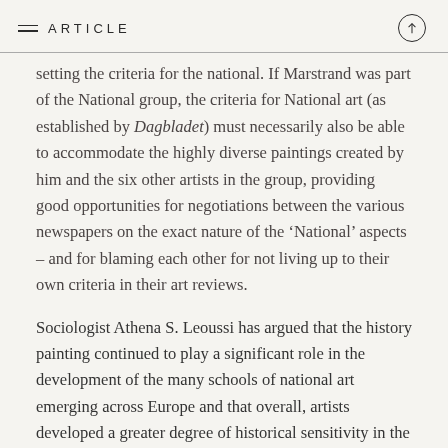ARTICLE
setting the criteria for 'the national'. If Marstrand was part of the National group, the criteria for National art (as established by Dagbladet) must necessarily also be able to accommodate the highly diverse paintings created by him and the six other artists in the group, providing good opportunities for negotiations between the various newspapers on the exact nature of the 'National' aspects – and for blaming each other for not living up to their own criteria in their art reviews.
Sociologist Athena S. Leoussi has argued that the history painting continued to play a significant role in the development of the many schools of national art emerging across Europe and that overall, artists developed a greater degree of historical sensitivity in the nineteenth century. Leoussi has demonstrated how a number of subjects spread